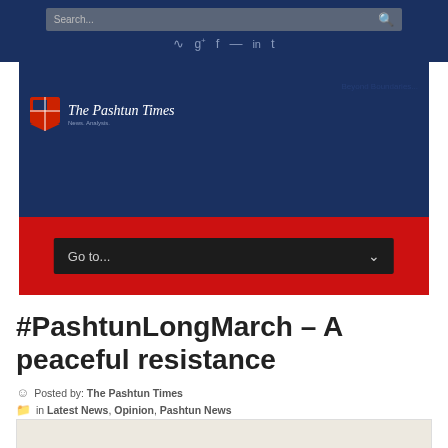Search... [social icons: RSS, G+, f, email, in, t]
[Figure (logo): The Pashtun Times logo banner with shield emblem on dark blue background, red navigation bar below with 'Go to...' dropdown]
#PashtunLongMarch – A peaceful resistance
Posted by: The Pashtun Times
in Latest News, Opinion, Pashtun News
February 9, 2018   0
[Figure (photo): Partial image at bottom of page]